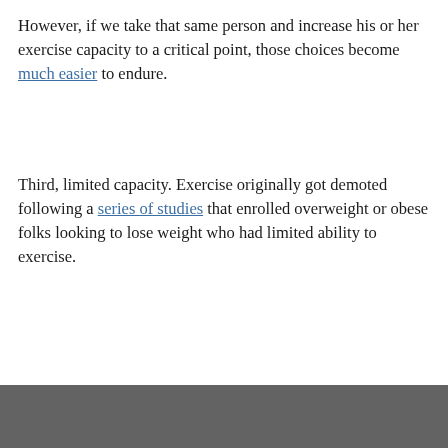However, if we take that same person and increase his or her exercise capacity to a critical point, those choices become much easier to endure.
Third, limited capacity. Exercise originally got demoted following a series of studies that enrolled overweight or obese folks looking to lose weight who had limited ability to exercise.